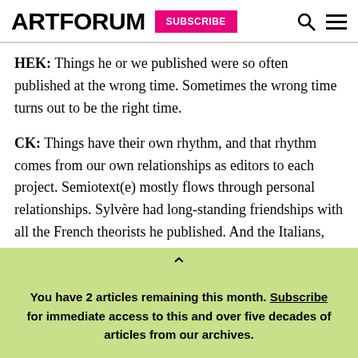ARTFORUM | SUBSCRIBE
HEK: Things he or we published were so often published at the wrong time. Sometimes the wrong time turns out to be the right time.
CK: Things have their own rhythm, and that rhythm comes from our own relationships as editors to each project. Semiotext(e) mostly flows through personal relationships. Sylvère had long-standing friendships with all the French theorists he published. And the Italians, too—Christian Marazzi and Franco Berardi
You have 2 articles remaining this month. Subscribe for immediate access to this and over five decades of articles from our archives.